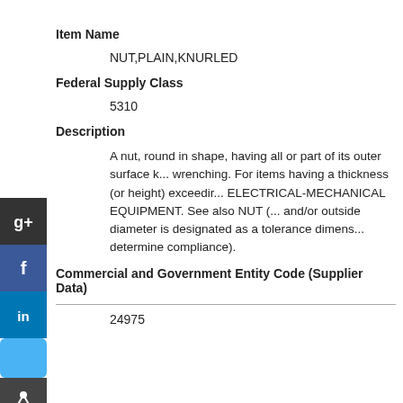Item Name
NUT,PLAIN,KNURLED
Federal Supply Class
5310
Description
A nut, round in shape, having all or part of its outer surface k... wrenching. For items having a thickness (or height) exceedi... ELECTRICAL-MECHANICAL EQUIPMENT. See also NUT (... and/or outside diameter is designated as a tolerance dimens... determine compliance).
Commercial and Government Entity Code (Supplier Data)
24975